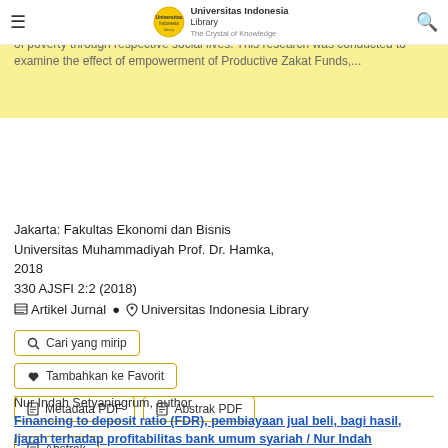≡  [Universitas Indonesia Library logo]  🔍
Zakat is one of the Islamic characteristics of the economic system... and the most effective instrument for humanity to help each other against the problems of poverty through respective social lives. This research was conducted to examine the effect of empowerment of Productive Zakat Funds,...
Jakarta: Fakultas Ekonomi dan Bisnis Universitas Muhammadiyah Prof. Dr. Hamka, 2018
330 AJSFI 2:2 (2018)
≡ Artikel Jurnal  ◈ Universitas Indonesia Library
🔍 Cari yang mirip
♥ Tambahkan ke Favorit
📄 Metadata PDF    📄 Abstrak PDF
📄 Abstrak
Nur Indah Setyaningrum, author
Financing to deposit ratio (FDR), pembiayaan jual beli, bagi hasil, Ijarah terhadap profitabilitas bank umum syariah / Nur Indah Setyaningrum